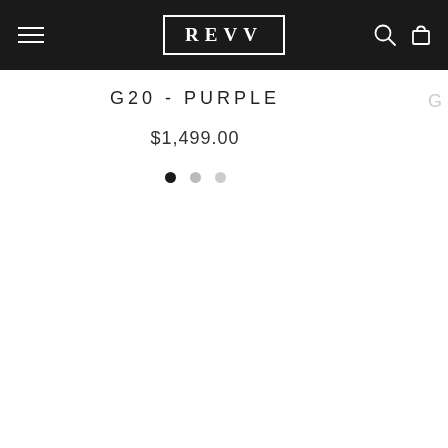REVV
G20 - PURPLE
$1,499.00
[Figure (other): Three dot indicators: one black (active), one medium gray, one light gray]